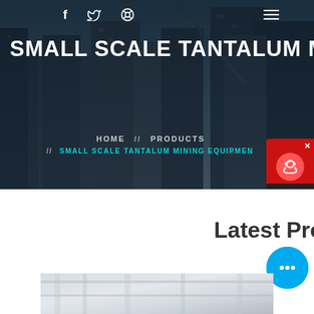[Figure (photo): Dark blue-tinted construction site / city skyline with cranes and buildings, used as hero banner background]
SMALL SCALE TANTALUM MINING
HOME // PRODUCTS // SMALL SCALE TANTALUM MINING EQUIPMENT
[Figure (infographic): Red chat widget with headset icon and 'Chat Now' label in top right corner]
Latest Projects
[Figure (infographic): Cyan chat bubble with ellipsis dots icon]
[Figure (photo): Industrial mining/processing facility interior photo at bottom of page]